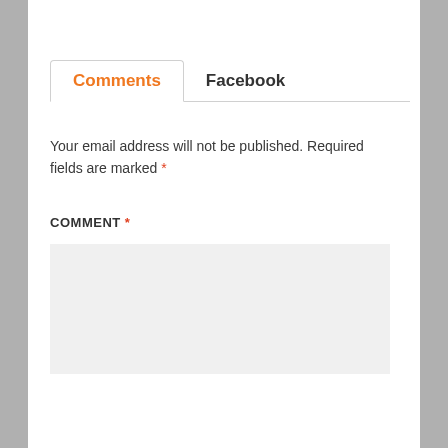Comments | Facebook
Your email address will not be published. Required fields are marked *
COMMENT *
[Figure (other): Empty comment textarea input field with light gray background]